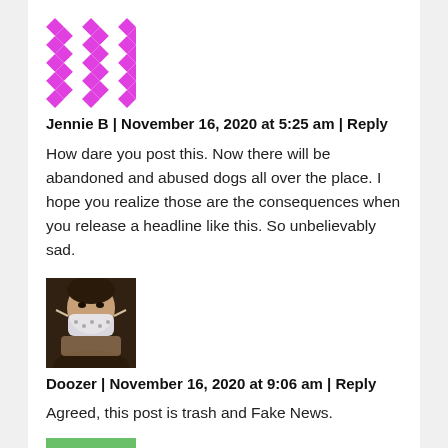[Figure (illustration): Pink and white geometric checkerboard/diamond pattern avatar for user Jennie B]
Jennie B | November 16, 2020 at 5:25 am | Reply
How dare you post this. Now there will be abandoned and abused dogs all over the place. I hope you realize those are the consequences when you release a headline like this. So unbelievably sad.
[Figure (photo): Profile photo of Doozer: a person wearing a face mask, close-up, dark background]
Doozer | November 16, 2020 at 9:06 am | Reply
Agreed, this post is trash and Fake News.